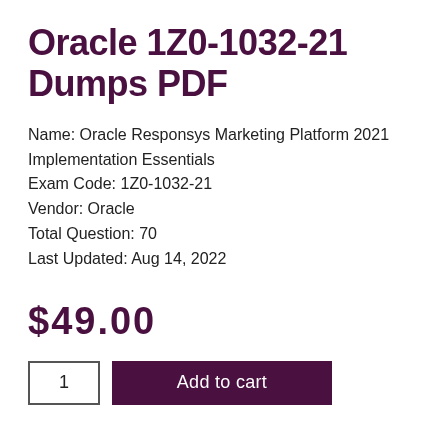Oracle 1Z0-1032-21 Dumps PDF
Name: Oracle Responsys Marketing Platform 2021 Implementation Essentials
Exam Code: 1Z0-1032-21
Vendor: Oracle
Total Question: 70
Last Updated: Aug 14, 2022
$49.00
1  Add to cart